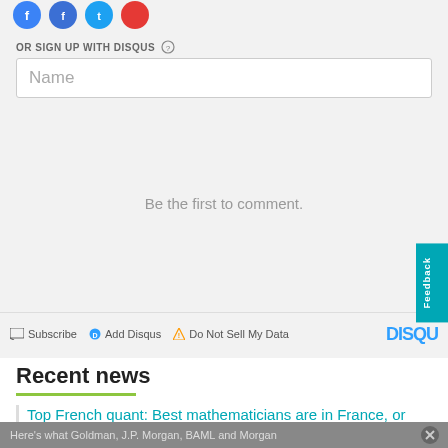[Figure (other): Social media icon circles (blue Facebook, blue Facebook alt, blue Twitter, red circle) partially visible at top]
OR SIGN UP WITH DISQUS (?)
Name
Be the first to comment.
Subscribe  Add Disqus  Do Not Sell My Data  DISQU
Feedback
Recent news
Top French quant: Best mathematicians are in France, or Russia
Here's what Goldman, J.P. Morgan, BAML and Morgan